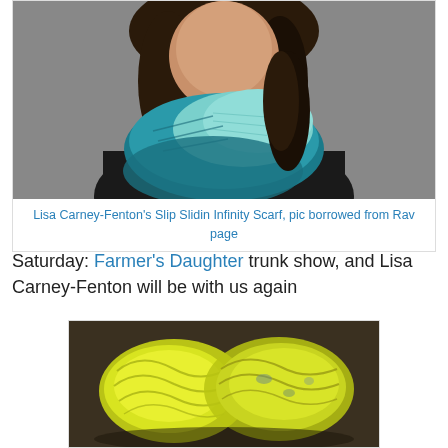[Figure (photo): Woman wearing a teal/turquoise knitted infinity scarf (slip stitch pattern, gradient from dark teal to light mint), dark hair, black jacket, grey background]
Lisa Carney-Fenton's Slip Slidin Infinity Scarf, pic borrowed from Rav page
Saturday: Farmer's Daughter trunk show, and Lisa Carney-Fenton will be with us again
[Figure (photo): Two skeins of yellow-green hand-dyed yarn on a dark background, with some grey/teal speckles visible]